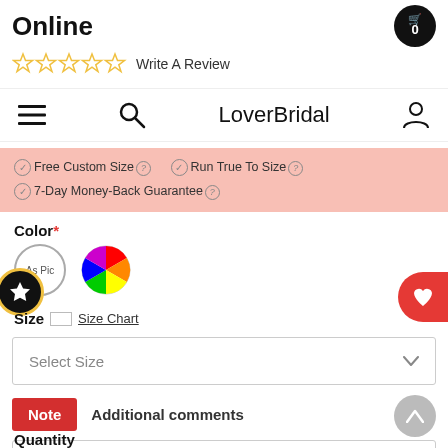LoverBridal
☆ ☆ ☆ ☆ ☆ Write A Review
Free Custom Size  Run True To Size  7-Day Money-Back Guarantee
Color *
[Figure (illustration): Color swatches: 'As Pic' circle swatch and a rainbow/multicolor wheel swatch]
Size  Size Chart
Select Size
Note  Additional comments
Write a note
Quantity